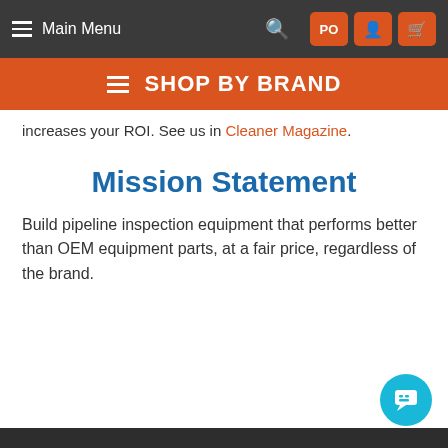Main Menu
SHOP BY BRAND
increases your ROI. See us in Cleaner Magazine.
Mission Statement
Build pipeline inspection equipment that performs better than OEM equipment parts, at a fair price, regardless of the brand.